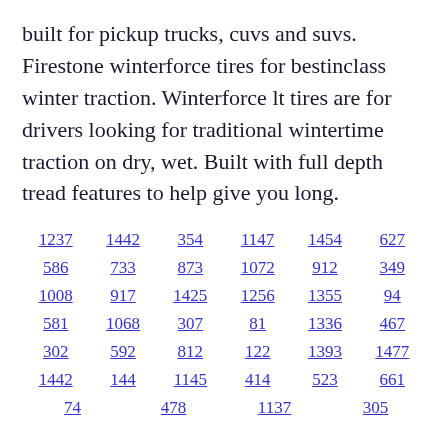built for pickup trucks, cuvs and suvs. Firestone winterforce tires for bestinclass winter traction. Winterforce lt tires are for drivers looking for traditional wintertime traction on dry, wet. Built with full depth tread features to help give you long.
1237  1442  354  1147  1454  627  586  733  873  1072  912  349  1008  917  1425  1256  1355  94  581  1068  307  81  1336  467  302  592  812  122  1393  1477  1442  144  1145  414  523  661  74  478  1137  305